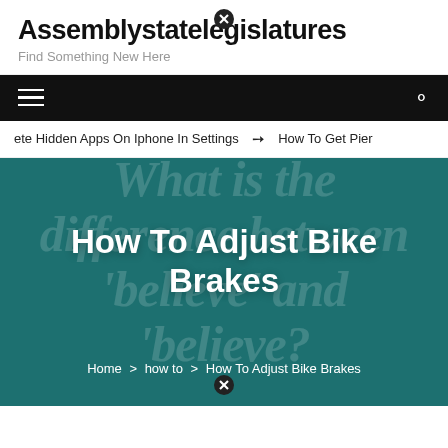Assemblystatelegislatures — Find Something New Here
ete Hidden Apps On Iphone In Settings  ➔  How To Get Pier…
How To Adjust Bike Brakes
Home > how to > How To Adjust Bike Brakes